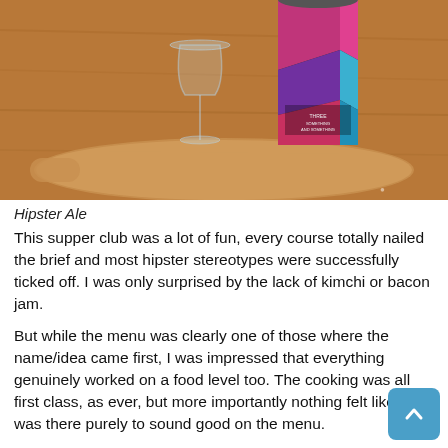[Figure (photo): Photo of a craft beer can with colourful geometric pattern label, a wine glass, and a wooden serving board on a wooden table surface]
Hipster Ale
This supper club was a lot of fun, every course totally nailed the brief and most hipster stereotypes were successfully ticked off. I was only surprised by the lack of kimchi or bacon jam.
But while the menu was clearly one of those where the name/idea came first, I was impressed that everything genuinely worked on a food level too. The cooking was all first class, as ever, but more importantly nothing felt like it was there purely to sound good on the menu.
I hope to see many of these dishes return to future supper clubs, particularly that ‘Bone broth’, although we might be allowed to just call it ‘stock’ then.